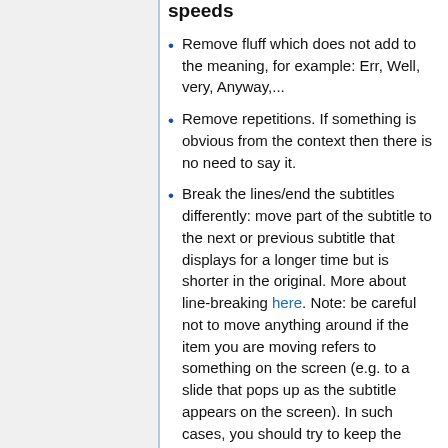speeds
Remove fluff which does not add to the meaning, for example: Err, Well, very, Anyway,...
Remove repetitions. If something is obvious from the context then there is no need to say it.
Break the lines/end the subtitles differently: move part of the subtitle to the next or previous subtitle that displays for a longer time but is shorter in the original. More about line-breaking here. Note: be careful not to move anything around if the item you are moving refers to something on the screen (e.g. to a slide that pops up as the subtitle appears on the screen). In such cases, you should try to keep the subtitles synchronized with what